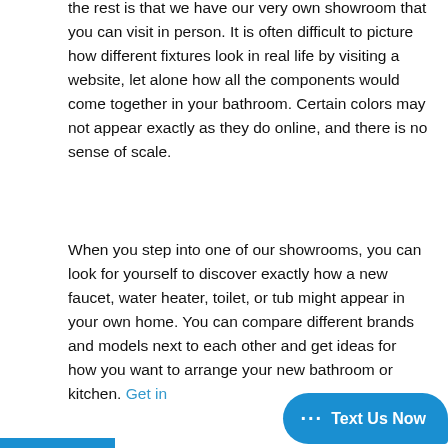the rest is that we have our very own showroom that you can visit in person. It is often difficult to picture how different fixtures look in real life by visiting a website, let alone how all the components would come together in your bathroom. Certain colors may not appear exactly as they do online, and there is no sense of scale.
When you step into one of our showrooms, you can look for yourself to discover exactly how a new faucet, water heater, toilet, or tub might appear in your own home. You can compare different brands and models next to each other and get ideas for how you want to arrange your new bathroom or kitchen. Get in